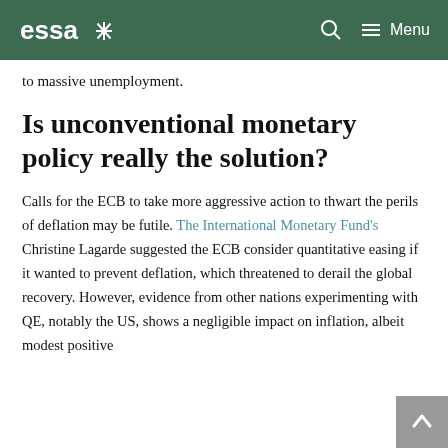essa* [logo] Search Menu
to massive unemployment.
Is unconventional monetary policy really the solution?
Calls for the ECB to take more aggressive action to thwart the perils of deflation may be futile. The International Monetary Fund's Christine Lagarde suggested the ECB consider quantitative easing if it wanted to prevent deflation, which threatened to derail the global recovery. However, evidence from other nations experimenting with QE, notably the US, shows a negligible impact on inflation, albeit modest positive